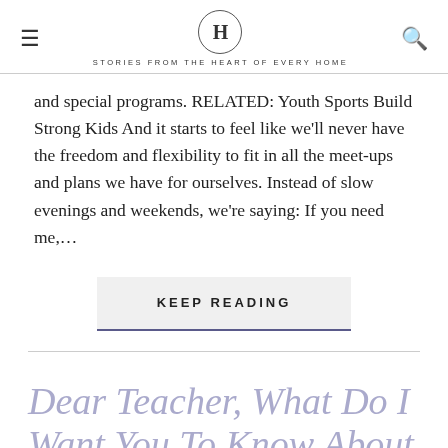H — STORIES FROM THE HEART OF EVERY HOME
and special programs. RELATED: Youth Sports Build Strong Kids And it starts to feel like we'll never have the freedom and flexibility to fit in all the meet-ups and plans we have for ourselves. Instead of slow evenings and weekends, we're saying: If you need me,...
KEEP READING
Dear Teacher, What Do I Want You To Know About M